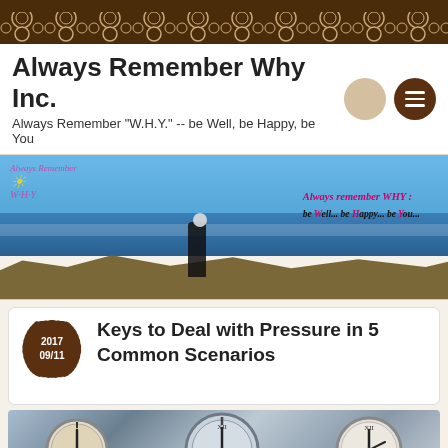Always Remember Why Inc. — Always Remember "W.H.Y." -- be Well, be Happy, be You
[Figure (photo): Banner photo of a woman standing on coastal rocks by the ocean with text overlay: 'Always remember WHY: be Well... be Happy... be You...']
Keys to Deal with Pressure in 5 Common Scenarios
[Figure (photo): Row of analog clocks with Roman numerals showing different times, blue/grey tones]